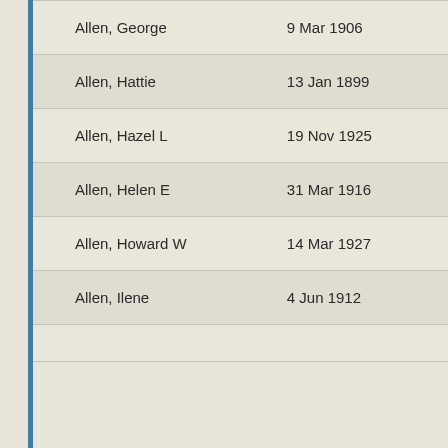| Name | Date |
| --- | --- |
| Allen, George | 9 Mar 1906 |
| Allen, Hattie | 13 Jan 1899 |
| Allen, Hazel L | 19 Nov 1925 |
| Allen, Helen E | 31 Mar 1916 |
| Allen, Howard W | 14 Mar 1927 |
| Allen, Ilene | 4 Jun 1912 |